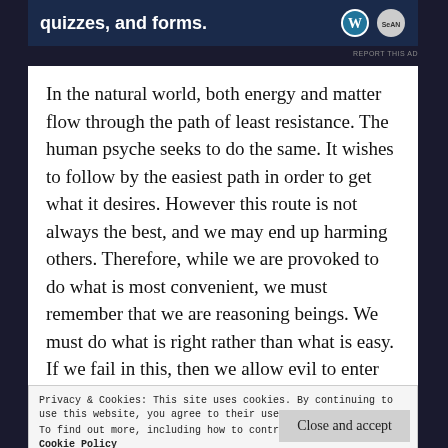[Figure (other): Advertisement banner with text 'quizzes, and forms.' and WordPress logo on dark blue background]
REPORT THIS AD
In the natural world, both energy and matter flow through the path of least resistance. The human psyche seeks to do the same. It wishes to follow by the easiest path in order to get what it desires. However this route is not always the best, and we may end up harming others. Therefore, while we are provoked to do what is most convenient, we must remember that we are reasoning beings. We must do what is right rather than what is easy. If we fail in this, then we allow evil to enter our lives.
Privacy & Cookies: This site uses cookies. By continuing to use this website, you agree to their use.
To find out more, including how to control cookies, see here: Cookie Policy
Close and accept